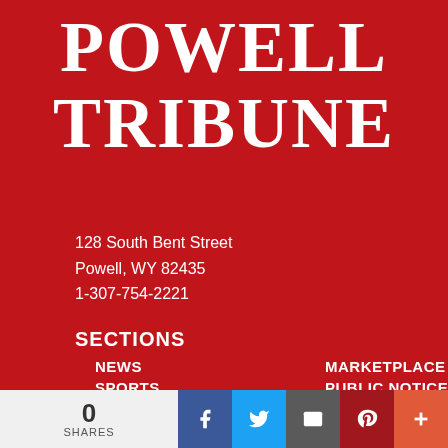Powell Tribune
128 South Bent Street
Powell, WY 82435
1-307-754-2221
SECTIONS
NEWS
MARKETPLACE
SPORTS
PUBLIC NOTICES
CALENDAR
SEND US YOUR NEWS!
OPINION
WEB EXTRAS
OBITUARIES
SUBSCRIBER SERVICES
SERVICES
0 SHARES